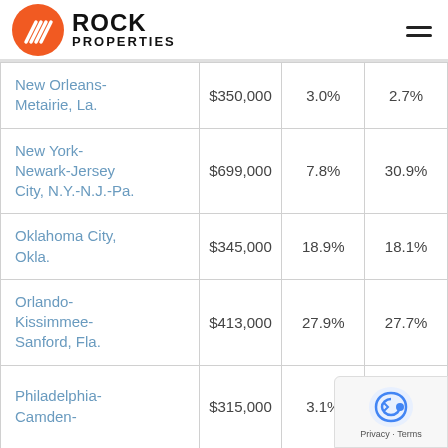Rock Properties
| City | Price | Col3 | Col4 |
| --- | --- | --- | --- |
| New Orleans-Metairie, La. | $350,000 | 3.0% | 2.7% |
| New York-Newark-Jersey City, N.Y.-N.J.-Pa. | $699,000 | 7.8% | 30.9% |
| Oklahoma City, Okla. | $345,000 | 18.9% | 18.1% |
| Orlando-Kissimmee-Sanford, Fla. | $413,000 | 27.9% | 27.7% |
| Philadelphia-Camden- | $315,000 | 3.1% | 4.4% |